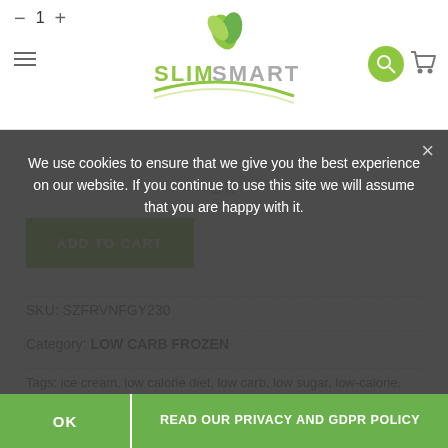[Figure (logo): SlimSmart website logo with green leaf/plant graphic]
— OR —
ADD TO CART
SKU: SZFRVNFGY230
Category: LOW CARB FROZEN
Tags: ice cream, low calorie diet, low carb, low sugar, low-calorie, Szafi, szafi reform, vanilla, vegan
We use cookies to ensure that we give you the best experience on our website. If you continue to use this site we will assume that you are happy with it.
OK
READ OUR PRIVACY AND GDPR POLICY